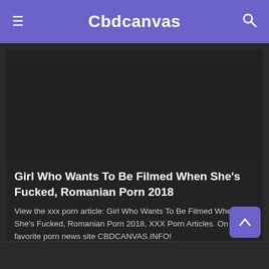Cbdcanvas
[Figure (screenshot): Dark placeholder image area for a video or article thumbnail]
Girl Who Wants To Be Filmed When She's Fucked, Romanian Porn 2018
View the xxx porn article: Girl Who Wants To Be Filmed When She's Fucked, Romanian Porn 2018, XXX Porn Articles. On your favorite porn news site CBDCANVAS.INFO!
1 Views · Likes 0